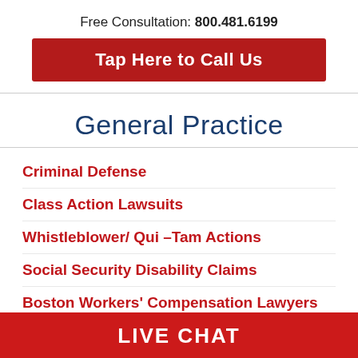Free Consultation: 800.481.6199
Tap Here to Call Us
General Practice
Criminal Defense
Class Action Lawsuits
Whistleblower/ Qui –Tam Actions
Social Security Disability Claims
Boston Workers' Compensation Lawyers
LIVE CHAT